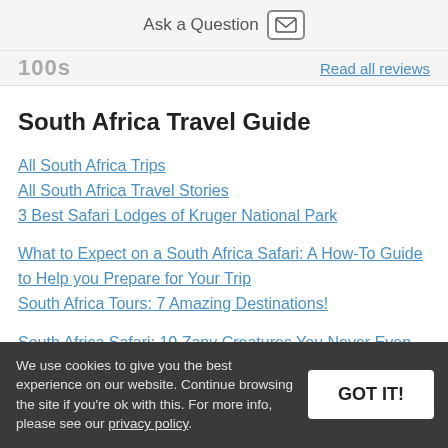Ask a Question
100s  Read all reviews
South Africa Travel Guide
All South Africa Trips
All South Africa Travel Stories
3 Best Safari Lodges of Kruger National Park
What to Expect on a South Africa Safari: A How-To Guide to Help you Prepare for Your Trip
South Africa Tours: 7 Amazing Destinations!
South Africa Safari: 10 Zany Creatures You Never Even Knew
We use cookies to give you the best experience on our website. Continue browsing the site if you're ok with this. For more info, please see our privacy policy.
Luxury African Safari